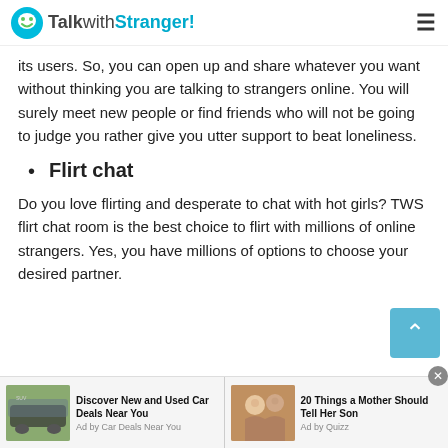TalkwithStranger!
its users. So, you can open up and share whatever you want without thinking you are talking to strangers online. You will surely meet new people or find friends who will not be going to judge you rather give you utter support to beat loneliness.
Flirt chat
Do you love flirting and desperate to chat with hot girls? TWS flirt chat room is the best choice to flirt with millions of online strangers. Yes, you have millions of options to choose your desired partner.
[Figure (infographic): Two advertisement banners: one for car deals and one for parenting advice]
Discover New and Used Car Deals Near You — Ad by Car Deals Near You | 20 Things a Mother Should Tell Her Son — Ad by Quizz